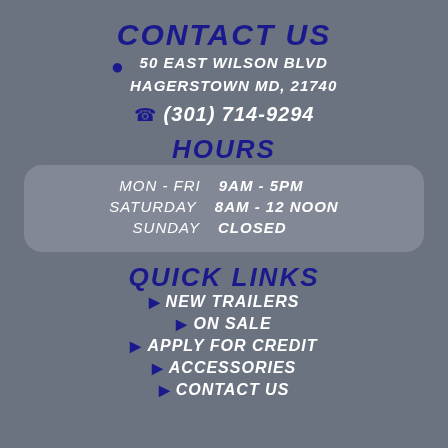CONTACT US
50 EAST WILSON BLVD
HAGERSTOWN MD, 21740
(301) 714-9294
HOURS
| Day | Hours |
| --- | --- |
| MON - FRI | 9AM - 5PM |
| SATURDAY | 8AM - 12 NOON |
| SUNDAY | CLOSED |
QUICK LINKS
NEW TRAILERS
ON SALE
APPLY FOR CREDIT
ACCESSORIES
CONTACT US